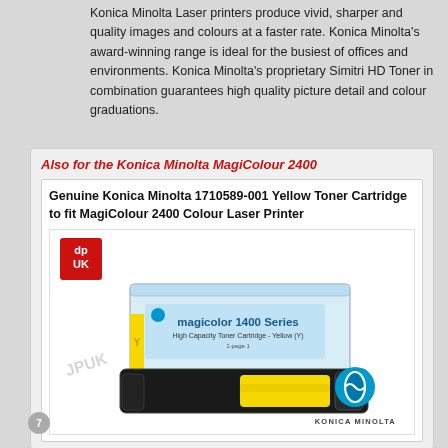Konica Minolta Laser printers produce vivid, sharper and quality images and colours at a faster rate. Konica Minolta's award-winning range is ideal for the busiest of offices and environments. Konica Minolta's proprietary Simitri HD Toner in combination guarantees high quality picture detail and colour graduations.
Also for the Konica Minolta MagiColour 2400
Genuine Konica Minolta 1710589-001 Yellow Toner Cartridge to fit MagiColour 2400 Colour Laser Printer
[Figure (photo): Product image of Konica Minolta 1710589-001 Yellow Toner Cartridge for MagiColour 2400 series, shown with packaging box (magicolor 1400 Series label visible). JPUK logo badge in top-left corner. Konica Minolta logo and name at bottom-right. Watermark 'JPUK' across image.]